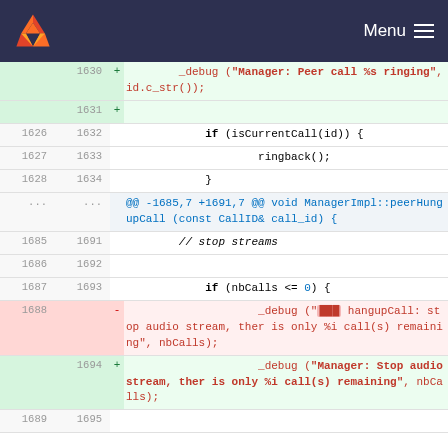GitLab navigation bar with logo and Menu
[Figure (screenshot): Git diff view showing code changes in a C++ source file. Lines 1630-1695 are shown with added (+) and removed (-) diff markers. Added lines (green background) show new _debug calls with 'Manager: Peer call %s ringing' and 'Manager: Stop audio stream' messages. Removed lines (red background) show old _debug call with redacted function name and 'hangupCall: stop audio stream, ther is only %i call(s) remaining' message. Context lines show ringback(), isCurrentCall, and nbCalls logic.]